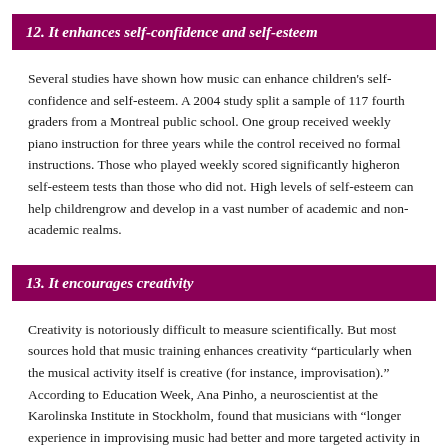12. It enhances self-confidence and self-esteem
Several studies have shown how music can enhance children's self-confidence and self-esteem. A 2004 study split a sample of 117 fourth graders from a Montreal public school. One group received weekly piano instruction for three years while the control received no formal instructions. Those who played weekly scored significantly higheron self-esteem tests than those who did not. High levels of self-esteem can help childrengrow and develop in a vast number of academic and non-academic realms.
13. It encourages creativity
Creativity is notoriously difficult to measure scientifically. But most sources hold that music training enhances creativity “particularly when the musical activity itself is creative (for instance, improvisation).” According to Education Week, Ana Pinho, a neuroscientist at the Karolinska Institute in Stockholm, found that musicians with “longer experience in improvising music had better and more targeted activity in the regions of the brain associated with creativity.” Music training also enhances communication between the right and left